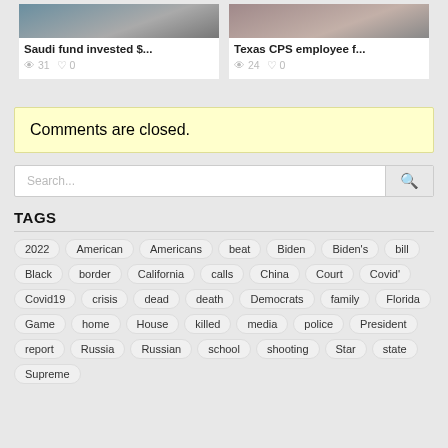[Figure (photo): Thumbnail image for article: Saudi fund invested $...]
[Figure (photo): Thumbnail image for article: Texas CPS employee f...]
Saudi fund invested $...
31  0
Texas CPS employee f...
24  0
Comments are closed.
Search...
TAGS
2022
American
Americans
beat
Biden
Biden's
bill
Black
border
California
calls
China
Court
Covid'
Covid19
crisis
dead
death
Democrats
family
Florida
Game
home
House
killed
media
police
President
report
Russia
Russian
school
shooting
Star
state
Supreme